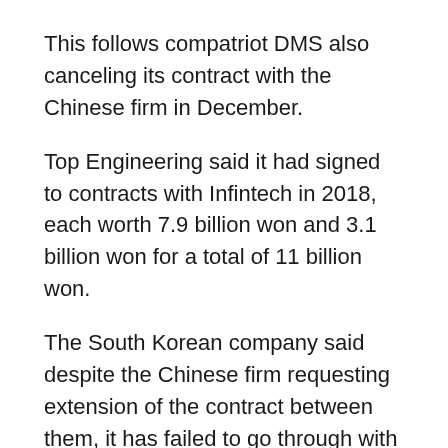This follows compatriot DMS also canceling its contract with the Chinese firm in December.
Top Engineering said it had signed to contracts with Infintech in 2018, each worth 7.9 billion won and 3.1 billion won for a total of 11 billion won.
The South Korean company said despite the Chinese firm requesting extension of the contract between them, it has failed to go through with the product inspection and payment processes. Therefore, it was canceling the contract.
A Top Engineering spokesperson said the company was unable to reach Infintech.